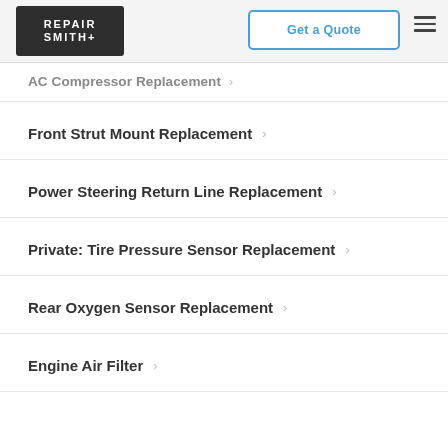[Figure (logo): RepairSmith logo - white text on dark background with wrench icon]
Get a Quote
AC Compressor Replacement
Front Strut Mount Replacement
Power Steering Return Line Replacement
Private: Tire Pressure Sensor Replacement
Rear Oxygen Sensor Replacement
Engine Air Filter